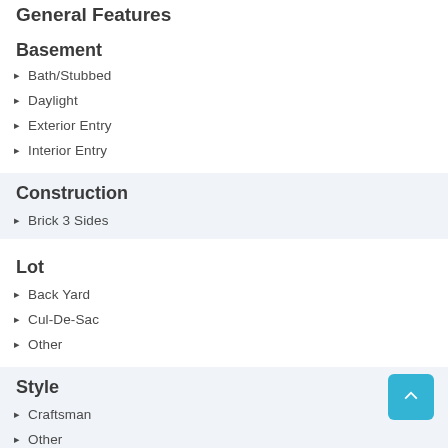General Features
Basement
Bath/Stubbed
Daylight
Exterior Entry
Interior Entry
Construction
Brick 3 Sides
Lot
Back Yard
Cul-De-Sac
Other
Style
Craftsman
Other